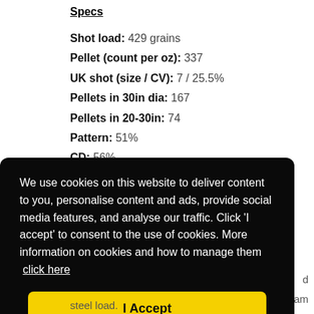Specs
Shot load: 429 grains
Pellet (count per oz): 337
UK shot (size / CV): 7 / 25.5%
Pellets in 30in dia: 167
Pellets in 20-30in: 74
Pattern: 51%
CD: 56%
We use cookies on this website to deliver content to you, personalise content and ads, provide social media features, and analyse our traffic. Click 'I accept' to consent to the use of cookies. More information on cookies and how to manage them click here
I Accept